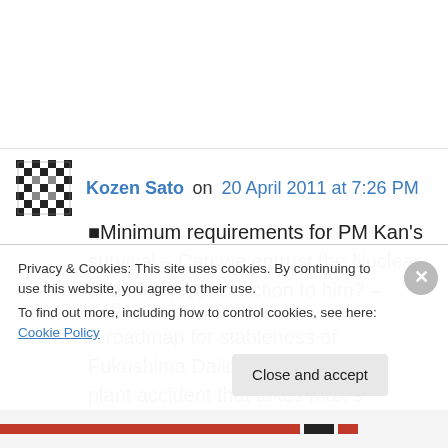Kozen Sato on 20 April 2011 at 7:26 PM
■Minimum requirements for PM Kan's survival – Can we entrust the Nuclear and the Reconstruction to him? –
A roadmap for stableness of Fukushima Daiichi nuclear power plant accident that takes max 9 months was announced by TEPCO on 17th at
Privacy & Cookies: This site uses cookies. By continuing to use this website, you agree to their use.
To find out more, including how to control cookies, see here: Cookie Policy
Close and accept